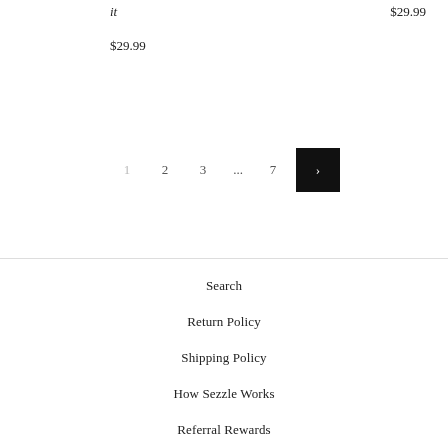it
$29.99
$29.99
1  2  3  ...  7  >
Search
Return Policy
Shipping Policy
How Sezzle Works
Referral Rewards